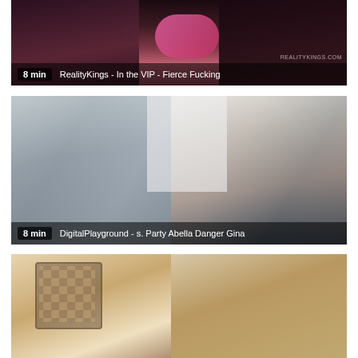[Figure (photo): Video thumbnail 1: RealityKings - In the VIP - Fierce Fucking, duration 8 min]
8 min   RealityKings - In the VIP - Fierce Fucking
[Figure (photo): Video thumbnail 2: DigitalPlayground - s. Party Abella Danger Gina, duration 8 min]
8 min   DigitalPlayground - s. Party Abella Danger Gina
[Figure (photo): Video thumbnail 3: partial thumbnail visible at bottom of page]